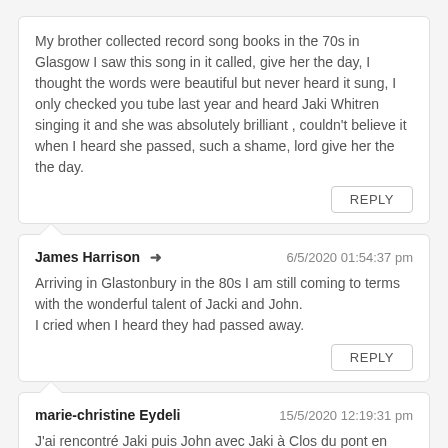My brother collected record song books in the 70s in Glasgow I saw this song in it called, give her the day, I thought the words were beautiful but never heard it sung, I only checked you tube last year and heard Jaki Whitren singing it and she was absolutely brilliant , couldn't believe it when I heard she passed, such a shame, lord give her the the day.
REPLY
James Harrison → 6/5/2020 01:54:37 pm
Arriving in Glastonbury in the 80s I am still coming to terms with the wonderful talent of Jacki and John.
I cried when I heard they had passed away.
REPLY
marie-christine Eydeli 15/5/2020 12:19:31 pm
J'ai rencontré Jaki puis John avec Jaki à Clos du pont en France dans les années 80,j'avais 25ans.nous avons partage avec des amis communs de superbes moments musicaux. Nous étions tous subjugues par la voix de Jaki, son humanité ,sa modestie